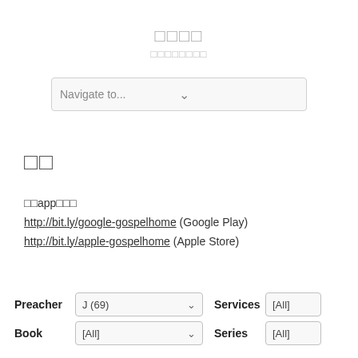□□□□ □□□□□□□□
[Figure (screenshot): Navigate to... dropdown selector]
□□
□□app□□□
http://bit.ly/google-gospelhome (Google Play)
http://bit.ly/apple-gospelhome (Apple Store)
[Figure (screenshot): Filter controls: Preacher J(69) dropdown, Services [All], Book [All] dropdown, Series [All]]